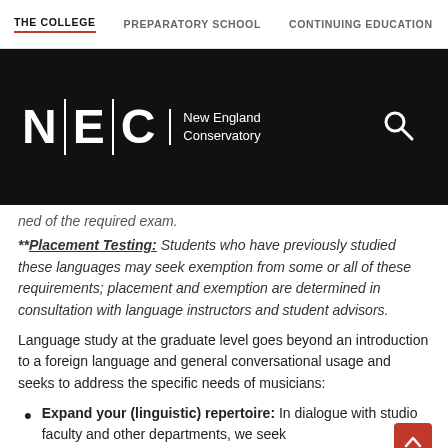THE COLLEGE | PREPARATORY SCHOOL | CONTINUING EDUCATION
[Figure (logo): New England Conservatory (NEC) logo with search icon on black background]
ned of the required exam.
**Placement Testing: Students who have previously studied these languages may seek exemption from some or all of these requirements; placement and exemption are determined in consultation with language instructors and student advisors.
Language study at the graduate level goes beyond an introduction to a foreign language and general conversational usage and seeks to address the specific needs of musicians:
Expand your (linguistic) repertoire: In dialogue with studio faculty and other departments, we seek